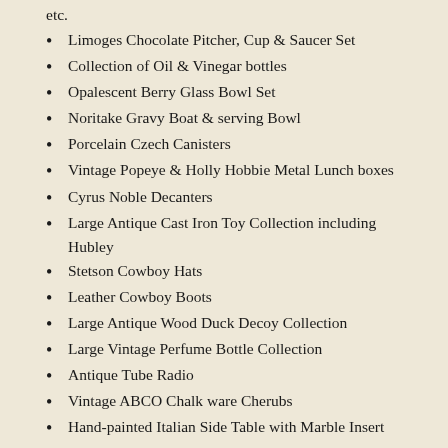etc.
Limoges Chocolate Pitcher, Cup & Saucer Set
Collection of Oil & Vinegar bottles
Opalescent Berry Glass Bowl Set
Noritake Gravy Boat & serving Bowl
Porcelain Czech Canisters
Vintage Popeye & Holly Hobbie Metal Lunch boxes
Cyrus Noble Decanters
Large Antique Cast Iron Toy Collection including Hubley
Stetson Cowboy Hats
Leather Cowboy Boots
Large Antique Wood Duck Decoy Collection
Large Vintage Perfume Bottle Collection
Antique Tube Radio
Vintage ABCO Chalk ware Cherubs
Hand-painted Italian Side Table with Marble Insert
Antique Bronze Figural Candelabras
Crystal Punchbowl
Huge Vintage Decanter Collection
Antique Glass Lamp Shades
Vintage GE Freezer